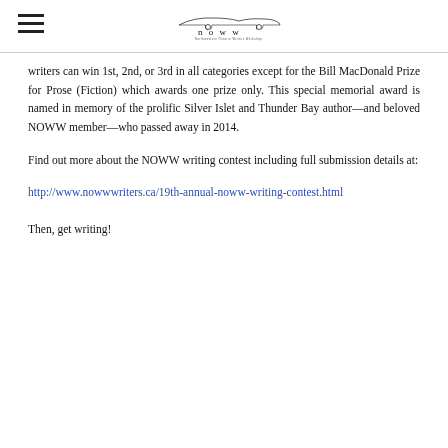NOWW — Northwestern Ontario Writers Workshop
writers can win 1st, 2nd, or 3rd in all categories except for the Bill MacDonald Prize for Prose (Fiction) which awards one prize only. This special memorial award is named in memory of the prolific Silver Islet and Thunder Bay author—and beloved NOWW member—who passed away in 2014.
Find out more about the NOWW writing contest including full submission details at:
http://www.nowwwriters.ca/19th-annual-noww-writing-contest.html
Then, get writing!